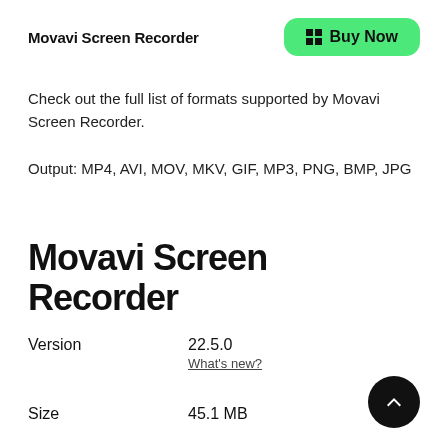Movavi Screen Recorder
[Figure (other): Green 'Buy Now' button with Windows logo icon]
Check out the full list of formats supported by Movavi Screen Recorder.
Output: MP4, AVI, MOV, MKV, GIF, MP3, PNG, BMP, JPG
Movavi Screen Recorder
Version   22.5.0
What's new?
Size   45.1 MB